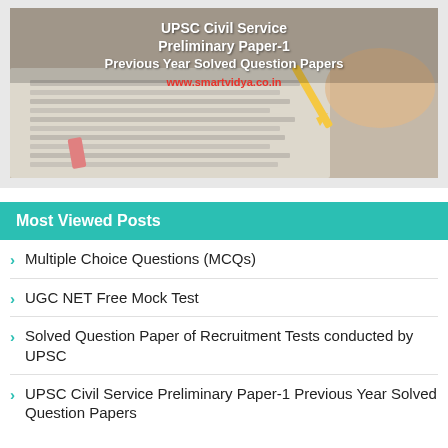[Figure (photo): Photo of a student filling in a multiple-choice answer sheet with a pencil, overlaid with white bold text reading 'UPSC Civil Service Preliminary Paper-1 Previous Year Solved Question Papers' and red text 'www.smartvidya.co.in']
Most Viewed Posts
Multiple Choice Questions (MCQs)
UGC NET Free Mock Test
Solved Question Paper of Recruitment Tests conducted by UPSC
UPSC Civil Service Preliminary Paper-1 Previous Year Solved Question Papers